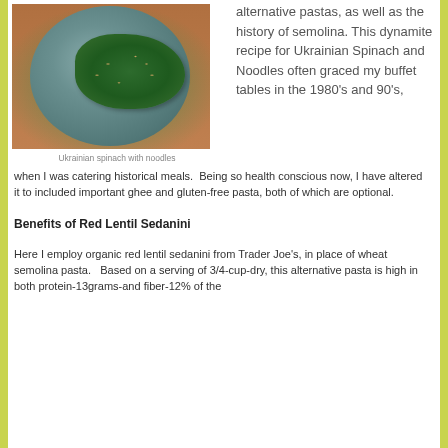[Figure (photo): A plate with Ukrainian spinach and noodles dish on a wooden surface]
Ukrainian spinach with noodles
pastas, as well as the history of semolina.  This dynamite recipe for Ukrainian Spinach and Noodles often graced my buffet tables in the 1980's and 90's, when I was catering historical meals.  Being so health conscious now, I have altered it to included important ghee and gluten-free pasta, both of which are optional.
Benefits of Red Lentil Sedanini
Here I employ organic red lentil sedanini from Trader Joe's, in place of wheat semolina pasta.   Based on a serving of 3/4-cup-dry, this alternative pasta is high in both protein-13grams-and fiber-12% of the